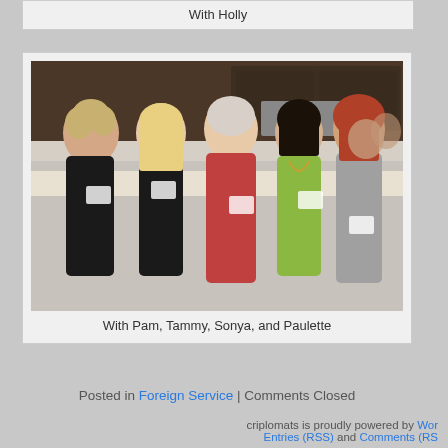With Holly
[Figure (photo): Group photo of five women at an indoor gathering/party. Two women in black outfits on the left, one in a red blouse in the center, one in a yellow-green top, and one in a grey cardigan on the right. Kitchen/living space visible in background with other guests.]
With Pam, Tammy, Sonya, and Paulette
Posted in Foreign Service | Comments Closed
criplomats is proudly powered by Wor... Entries (RSS) and Comments (RS...